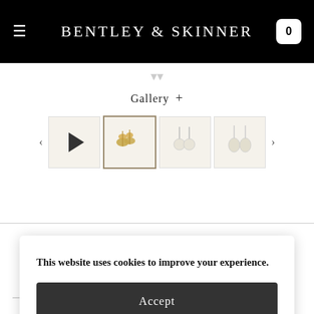BENTLEY & SKINNER
Gallery +
[Figure (photo): Thumbnail strip with 4 jewelry/earring images and navigation arrows. First thumbnail shows a play button, second thumbnail is selected/active showing gold butterfly earrings, third and fourth show pearl earrings.]
This website uses cookies to improve your experience.
Accept
Read more